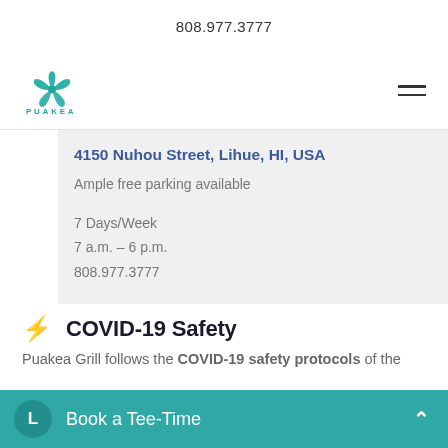808.977.3777
[Figure (logo): Puakea flower logo with text PUAKEA below in teal letters]
4150 Nuhou Street, Lihue, HI, USA
Ample free parking available
7 Days/Week
7 a.m. – 6 p.m.
808.977.3777
COVID-19 Safety
Puakea Grill follows the COVID-19 safety protocols of the